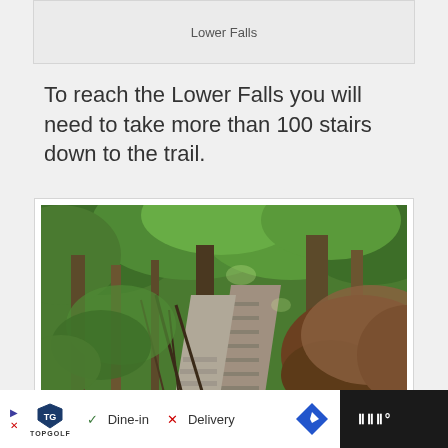Lower Falls
To reach the Lower Falls you will need to take more than 100 stairs down to the trail.
[Figure (photo): Outdoor staircase descending through a lush green forest with trees and stone retaining walls lining the path, leading down to a trail.]
Topgolf ad — ✓ Dine-in  ✗ Delivery